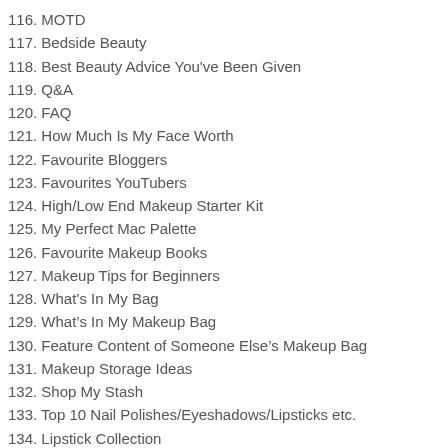116. MOTD
117. Bedside Beauty
118. Best Beauty Advice You've Been Given
119. Q&A
120. FAQ
121. How Much Is My Face Worth
122. Favourite Bloggers
123. Favourites YouTubers
124. High/Low End Makeup Starter Kit
125. My Perfect Mac Palette
126. Favourite Makeup Books
127. Makeup Tips for Beginners
128. What's In My Bag
129. What's In My Makeup Bag
130. Feature Content of Someone Else's Makeup Bag
131. Makeup Storage Ideas
132. Shop My Stash
133. Top 10 Nail Polishes/Eyeshadows/Lipsticks etc.
134. Lipstick Collection